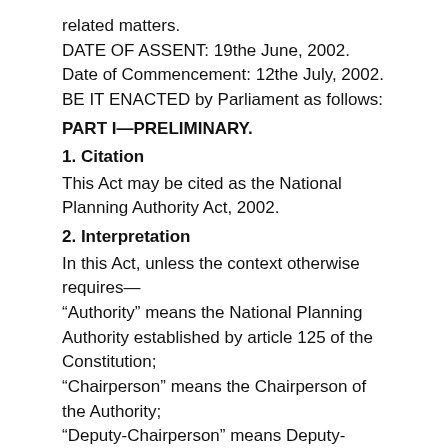related matters.
DATE OF ASSENT: 19the June, 2002.
Date of Commencement: 12the July, 2002.
BE IT ENACTED by Parliament as follows:
PART I—PRELIMINARY.
1. Citation
This Act may be cited as the National Planning Authority Act, 2002.
2. Interpretation
In this Act, unless the context otherwise requires—
“Authority” means the National Planning Authority established by article 125 of the Constitution;
“Chairperson” means the Chairperson of the Authority;
“Deputy-Chairperson” means Deputy-Chairperson of the Authority;
“Executive Director’ means the Executive Director appointed under section
9 of this Act;